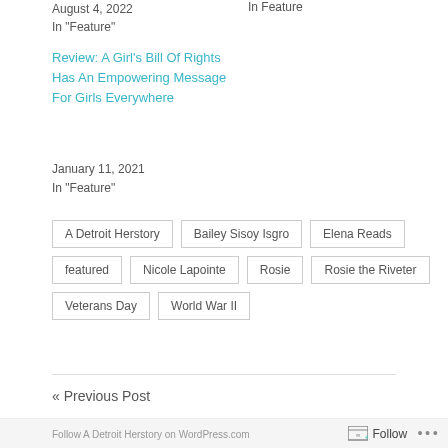August 4, 2022
In "Feature"
In  Feature
Review: A Girl's Bill Of Rights Has An Empowering Message For Girls Everywhere
January 11, 2021
In "Feature"
A Detroit Herstory
Bailey Sisoy Isgro
Elena Reads
featured
Nicole Lapointe
Rosie
Rosie the Riveter
Veterans Day
World War II
« Previous Post
Follow